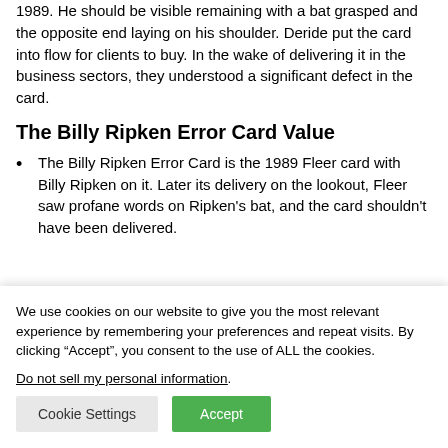1989. He should be visible remaining with a bat grasped and the opposite end laying on his shoulder. Deride put the card into flow for clients to buy. In the wake of delivering it in the business sectors, they understood a significant defect in the card.
The Billy Ripken Error Card Value
The Billy Ripken Error Card is the 1989 Fleer card with Billy Ripken on it. Later its delivery on the lookout, Fleer saw profane words on Ripken's bat, and the card shouldn't have been delivered.
We use cookies on our website to give you the most relevant experience by remembering your preferences and repeat visits. By clicking “Accept”, you consent to the use of ALL the cookies.
Do not sell my personal information.